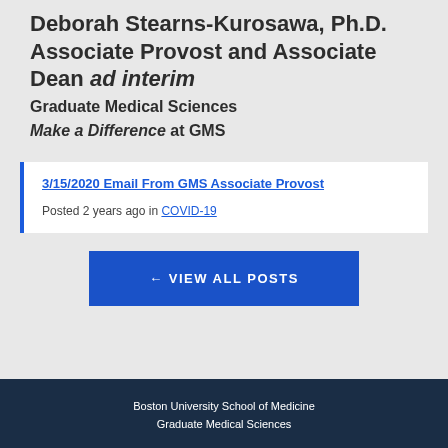Deborah Stearns-Kurosawa, Ph.D. Associate Provost and Associate Dean ad interim Graduate Medical Sciences Make a Difference at GMS
3/15/2020 Email From GMS Associate Provost
Posted 2 years ago in COVID-19
← VIEW ALL POSTS
Boston University School of Medicine
Graduate Medical Sciences